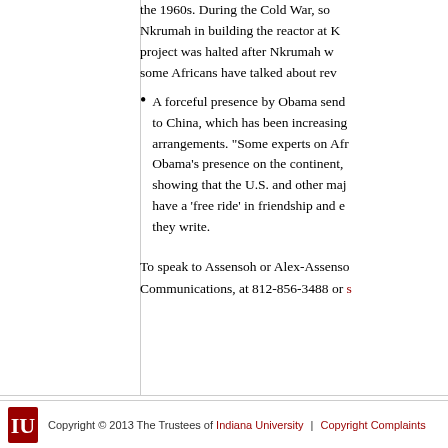the 1960s. During the Cold War, so... Nkrumah in building the reactor at K... project was halted after Nkrumah w... some Africans have talked about rev...
A forceful presence by Obama send... to China, which has been increasing... arrangements. "Some experts on Afr... Obama's presence on the continent,... showing that the U.S. and other maj... have a 'free ride' in friendship and e... they write.
To speak to Assensoh or Alex-Assenso... Communications, at 812-856-3488 or s...
Copyright © 2013 The Trustees of Indiana University | Copyright Complaints